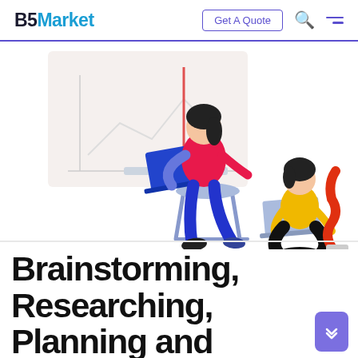B5Market — Get A Quote
[Figure (illustration): Two illustrated people working on laptops. One person sits on a chair at a desk using a laptop, wearing a red top and blue pants. A second person sits cross-legged on the floor with a laptop, wearing a yellow top and black pants. A red sculptural figure and a plant pot are in the background.]
Brainstorming, Researching, Planning and Strategizing Work